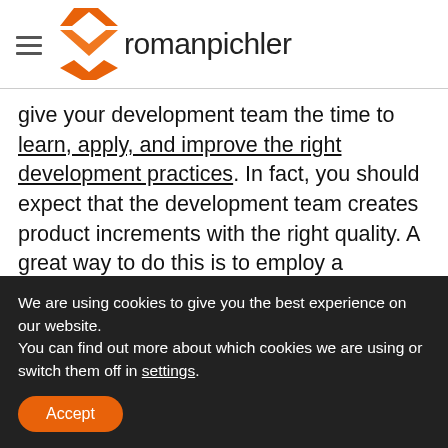romanpichler
give your development team the time to learn, apply, and improve the right development practices. In fact, you should expect that the development team creates product increments with the right quality. A great way to do this is to employ a Definition of Done that states code complexity limits and test coverage targets, and to only accept work results that fulfil this definition.
We are using cookies to give you the best experience on our website.
You can find out more about which cookies we are using or switch them off in settings.
Accept